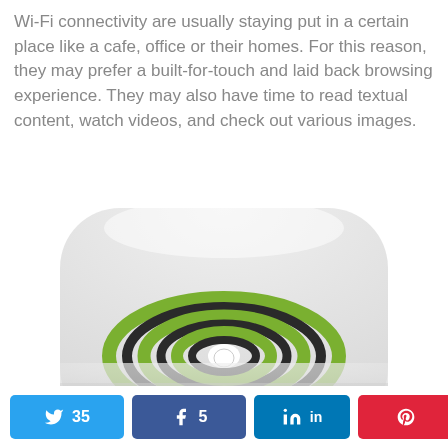Wi-Fi connectivity are usually staying put in a certain place like a cafe, office or their homes. For this reason, they may prefer a built-for-touch and laid back browsing experience. They may also have time to read textual content, watch videos, and check out various images.
[Figure (photo): A white rounded-square Wi-Fi router/device with a green and dark concentric circle Wi-Fi signal logo on the front, viewed from above at an angle.]
Twitter 35  Facebook 5  LinkedIn  Pinterest  < 40 SHARES